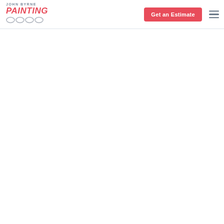John Byrne Painting — Navigation header with logo, phone icon, Get an Estimate button, and hamburger menu
[Figure (logo): John Byrne Painting logo with text JOHN BYRNE above PAINTING in red italic bold, with brush/roller icons below]
Get an Estimate